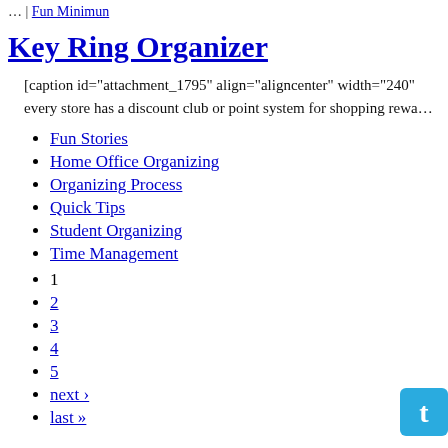… | Fun Minimun
Key Ring Organizer
[caption id="attachment_1795" align="aligncenter" width="240" every store has a discount club or point system for shopping rewa…
Fun Stories
Home Office Organizing
Organizing Process
Quick Tips
Student Organizing
Time Management
1
2
3
4
5
next ›
last »